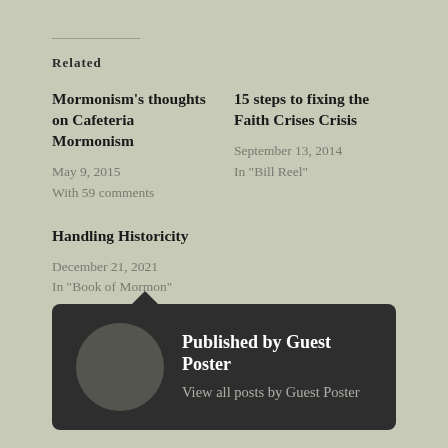Related
Mormonism's thoughts on Cafeteria Mormonism
May 9, 2015
With 59 comments
15 steps to fixing the Faith Crises Crisis
September 13, 2014
In "Bill Reel"
Handling Historicity
December 21, 2021
In "Book of Mormon"
Published by Guest Poster
View all posts by Guest Poster